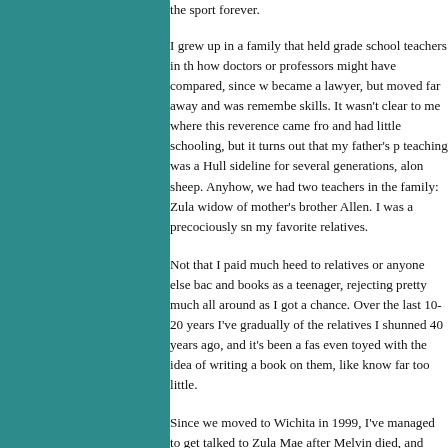the sport forever.
I grew up in a family that held grade school teachers in th how doctors or professors might have compared, since w became a lawyer, but moved far away and was remembe skills. It wasn't clear to me where this reverence came fro and had little schooling, but it turns out that my father's p teaching was a Hull sideline for several generations, alon sheep. Anyhow, we had two teachers in the family: Zula widow of mother's brother Allen. I was a precociously sr my favorite relatives.
Not that I paid much heed to relatives or anyone else bac and books as a teenager, rejecting pretty much all around as I got a chance. Over the last 10-20 years I've gradually of the relatives I shunned 40 years ago, and it's been a fas even toyed with the idea of writing a book on them, like know far too little.
Since we moved to Wichita in 1999, I've managed to get talked to Zula Mae after Melvin died, and after my dad d drove to Arizona to see her last sister. I remembered a tin Wichita and talked us into going out for Chinese food, w once or twice. So I made Dodge the first stop on our driv her, and recreated for her what was actually the meal I ha birthday: Szechuan chicken, dry-fried string beans, stran